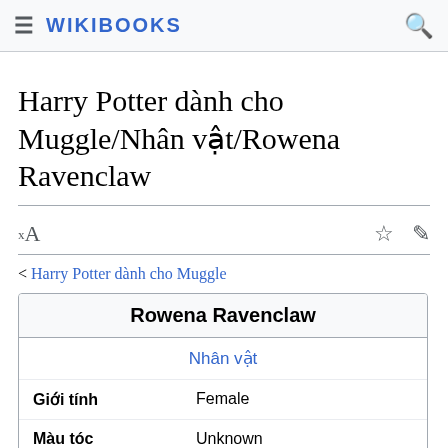≡ WIKIBOOKS 🔍
Harry Potter dành cho Muggle/Nhân vật/Rowena Ravenclaw
< Harry Potter dành cho Muggle
| Rowena Ravenclaw |  |
| --- | --- |
| Nhân vật |  |
| Giới tính | Female |
| Màu tóc | Unknown |
| Màu mắt | Unknown |